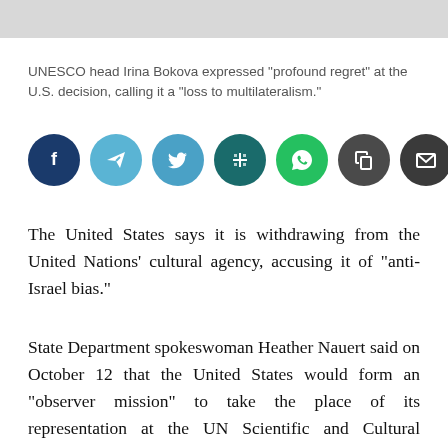[Figure (photo): Partial image at top of page, grey placeholder]
UNESCO head Irina Bokova expressed "profound regret" at the U.S. decision, calling it a "loss to multilateralism."
[Figure (infographic): Row of social sharing buttons: Facebook (dark blue), Telegram (light blue), Twitter (medium blue), Addthis (dark teal), WhatsApp (green), Copy (dark gray), Email (dark gray)]
The United States says it is withdrawing from the United Nations' cultural agency, accusing it of "anti-Israel bias."
State Department spokeswoman Heather Nauert said on October 12 that the United States would form an "observer mission" to take the place of its representation at the UN Scientific and Cultural Organization (UNESCO) effective December 31.
"This decision was not taken lightly, and reflects U.S.